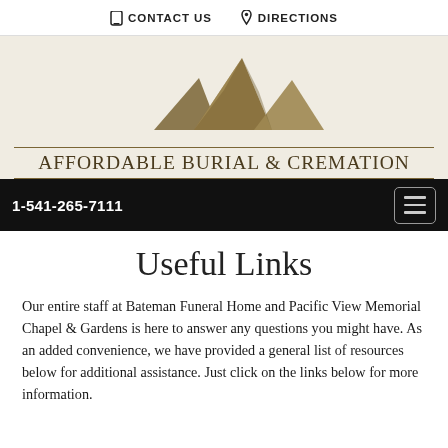CONTACT US   DIRECTIONS
[Figure (logo): Affordable Burial & Cremation logo: three mountain peak shapes in gold/brown tones above the company name text]
AFFORDABLE BURIAL & CREMATION
1-541-265-7111
Useful Links
Our entire staff at Bateman Funeral Home and Pacific View Memorial Chapel & Gardens is here to answer any questions you might have. As an added convenience, we have provided a general list of resources below for additional assistance. Just click on the links below for more information.